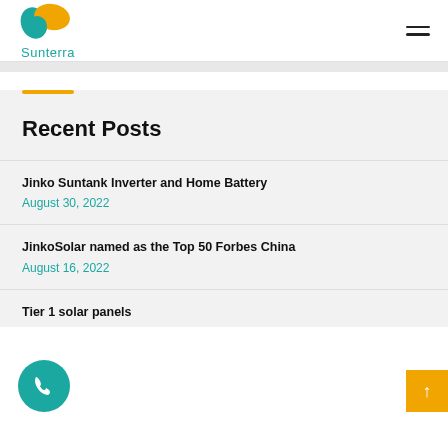Sunterra
Recent Posts
Jinko Suntank Inverter and Home Battery
August 30, 2022
JinkoSolar named as the Top 50 Forbes China
August 16, 2022
Tier 1 solar panels